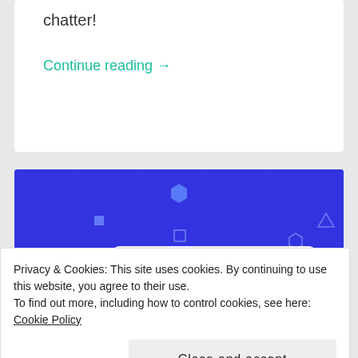chatter!
Continue reading →
[Figure (illustration): Blue background illustration card showing a tablet/screen with security icons (padlock, globe, code terminal), geometric shapes (squares, hexagons, triangles) floating in the background on a blue background.]
Privacy & Cookies: This site uses cookies. By continuing to use this website, you agree to their use.
To find out more, including how to control cookies, see here: Cookie Policy
Close and accept